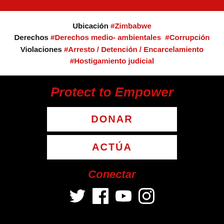Ubicación #Zimbabwe Derechos #Derechos medio-ambientales #Corrupción Violaciones #Arresto / Detención / Encarcelamiento #Hostigamiento judicial
Protect to Empower
DONAR
ACTÚA
Conectar
[Figure (illustration): Social media icons: Twitter, Facebook, YouTube, Instagram in white on black background]